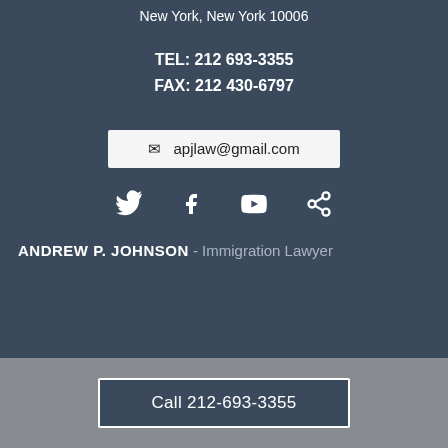New York, New York 10006
TEL: 212 693-3355
FAX: 212 430-6797
apjlaw@gmail.com
[Figure (other): Social media icons: Twitter, Facebook, YouTube, Share]
ANDREW P. JOHNSON - Immigration Lawyer
Call 212-693-3355